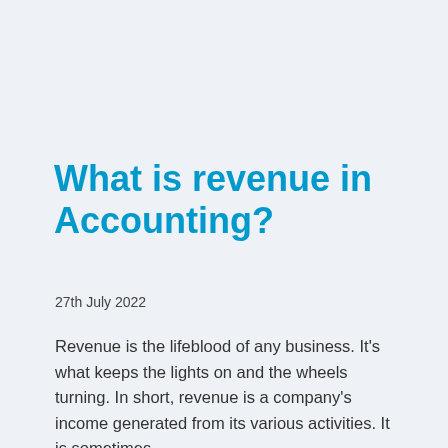What is revenue in Accounting?
27th July 2022
Revenue is the lifeblood of any business. It's what keeps the lights on and the wheels turning. In short, revenue is a company's income generated from its various activities. It is sometimes…